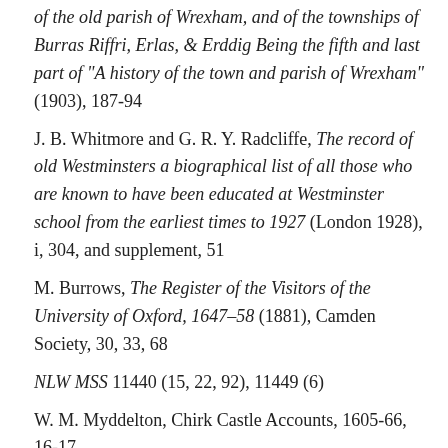of the old parish of Wrexham, and of the townships of Burras Riffri, Erlas, & Erddig Being the fifth and last part of "A history of the town and parish of Wrexham" (1903), 187-94
J. B. Whitmore and G. R. Y. Radcliffe, The record of old Westminsters a biographical list of all those who are known to have been educated at Westminster school from the earliest times to 1927 (London 1928), i, 304, and supplement, 51
M. Burrows, The Register of the Visitors of the University of Oxford, 1647–58 (1881), Camden Society, 30, 33, 68
NLW MSS 11440 (15, 22, 92), 11449 (6)
W. M. Myddelton, Chirk Castle Accounts, 1605-66, 16-17,